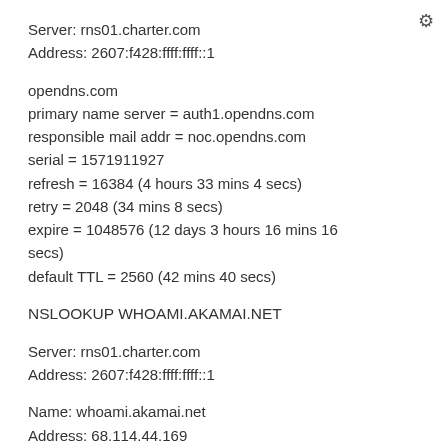Server: rns01.charter.com
Address: 2607:f428:ffff:ffff::1
opendns.com
primary name server = auth1.opendns.com
responsible mail addr = noc.opendns.com
serial = 1571911927
refresh = 16384 (4 hours 33 mins 4 secs)
retry = 2048 (34 mins 8 secs)
expire = 1048576 (12 days 3 hours 16 mins 16 secs)
default TTL = 2560 (42 mins 40 secs)
NSLOOKUP WHOAMI.AKAMAI.NET
Server: rns01.charter.com
Address: 2607:f428:ffff:ffff::1
Name: whoami.akamai.net
Address: 68.114.44.169